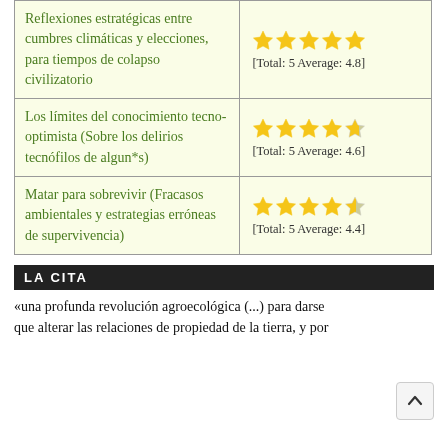| Título | Valoración |
| --- | --- |
| Reflexiones estratégicas entre cumbres climáticas y elecciones, para tiempos de colapso civilizatorio | ★★★★★ [Total: 5 Average: 4.8] |
| Los límites del conocimiento tecno-optimista (Sobre los delirios tecnófilos de algun*s) | ★★★★½ [Total: 5 Average: 4.6] |
| Matar para sobrevivir (Fracasos ambientales y estrategias erróneas de supervivencia) | ★★★★½ [Total: 5 Average: 4.4] |
LA CITA
«una profunda revolución agroecológica (...) para darse... que alterar las relaciones de propiedad de la tierra, y por...